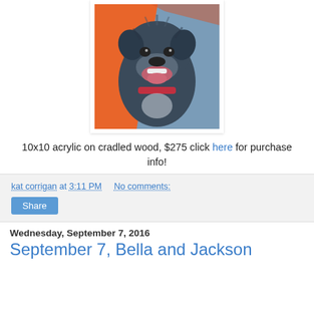[Figure (illustration): Painting of a black dog with mouth open, smiling, with orange and blue background, appearing to wear a red collar. Oil or acrylic painting style.]
10x10 acrylic on cradled wood, $275 click here for purchase info!
kat corrigan at 3:11 PM   No comments:
Share
Wednesday, September 7, 2016
September 7, Bella and Jackson